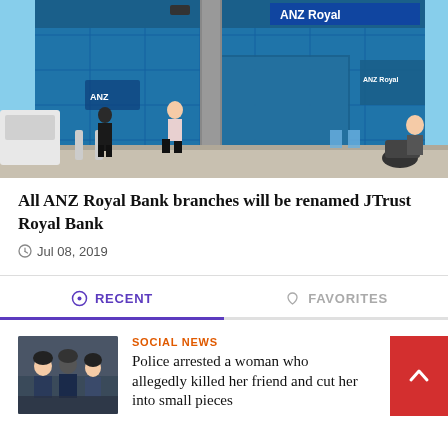[Figure (photo): ANZ Royal Bank branch exterior — blue facade, security guard and pedestrian in front, motorcycles and people in background]
All ANZ Royal Bank branches will be renamed JTrust Royal Bank
Jul 08, 2019
RECENT
FAVORITES
[Figure (photo): Police officers arresting someone in a crowd]
SOCIAL NEWS
Police arrested a woman who allegedly killed her friend and cut her into small pieces